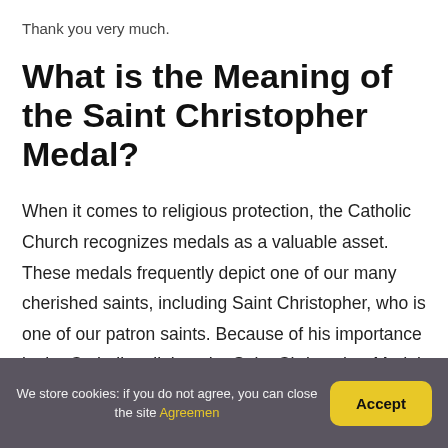Thank you very much.
What is the Meaning of the Saint Christopher Medal?
When it comes to religious protection, the Catholic Church recognizes medals as a valuable asset. These medals frequently depict one of our many cherished saints, including Saint Christopher, who is one of our patron saints. Because of his importance in the Catholic religion, the Saint Christopher Medal is one of the most widely worn medals in the world.
We store cookies: if you do not agree, you can close the site Agreemen